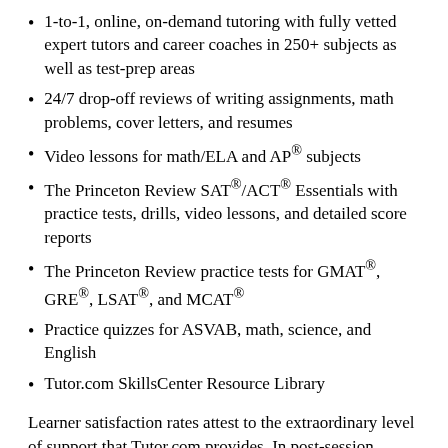1-to-1, online, on-demand tutoring with fully vetted expert tutors and career coaches in 250+ subjects as well as test-prep areas
24/7 drop-off reviews of writing assignments, math problems, cover letters, and resumes
Video lessons for math/ELA and AP® subjects
The Princeton Review SAT®/ACT® Essentials with practice tests, drills, video lessons, and detailed score reports
The Princeton Review practice tests for GMAT®, GRE®, LSAT®, and MCAT®
Practice quizzes for ASVAB, math, science, and English
Tutor.com SkillsCenter Resource Library
Learner satisfaction rates attest to the extraordinary level of support that Tutor.com provides. In post-session surveys, 96 percent reported Tutor.com had helped them complete their